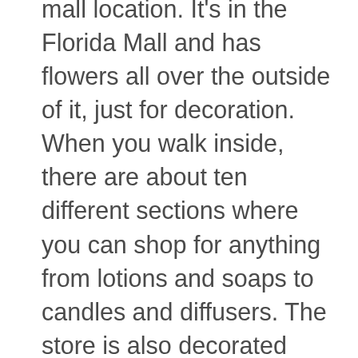mall location. It's in the Florida Mall and has flowers all over the outside of it, just for decoration. When you walk inside, there are about ten different sections where you can shop for anything from lotions and soaps to candles and diffusers. The store is also decorated with draping, vases and other knick-knacks that are all very flowery. Bath and Body Works offers many different products, ranging from body wash to fragrances. Their prices could usually be considered pretty reasonable when compared to some other specialty stores, but they're not exactly cheap either. They also have a lot of sales going on every week, so if you like candles or lotions or something like that, you can find a good deal there. The only real downside to this store is the fact that it's located in a mall and not in a specialty shop or something like that, which might